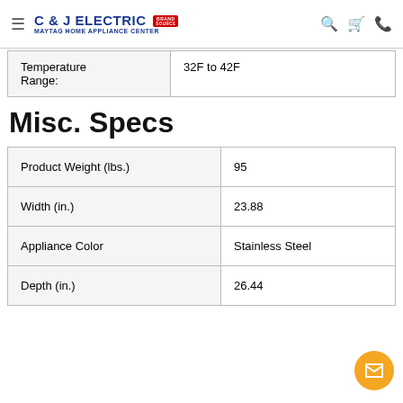C & J ELECTRIC BRAND SOURCE MAYTAG HOME APPLIANCE CENTER
| Temperature Range: |  |
| --- | --- |
| Temperature Range: | 32F to 42F |
Misc. Specs
| Product Weight (lbs.) | 95 |
| Width (in.) | 23.88 |
| Appliance Color | Stainless Steel |
| Depth (in.) | 26.44 |